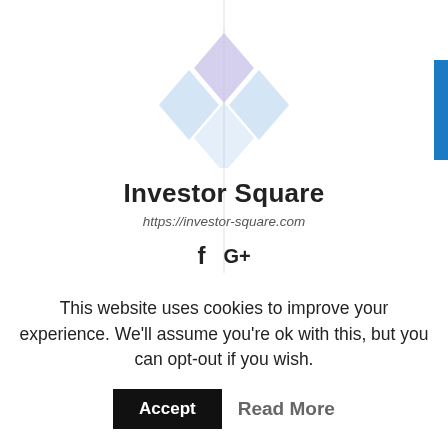[Figure (logo): Investor Square diamond logo made of four diamond shapes in light blue/purple colors]
Investor Square
https://investor-square.com
f  G+
RELATED ARTICLES   MORE FROM AUTHOR
This website uses cookies to improve your experience. We'll assume you're ok with this, but you can opt-out if you wish.
Accept   Read More